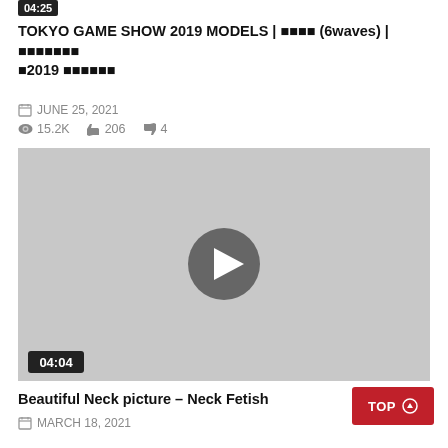[Figure (screenshot): Video thumbnail with play button and timestamp 04:25 at top]
TOKYO GAME SHOW 2019 MODELS | 6waves | 2019
JUNE 25, 2021
15.2K  206  4
[Figure (screenshot): Video thumbnail (grey) with centered play button and timestamp 04:04]
Beautiful Neck picture – Neck Fetish
MARCH 18, 2021